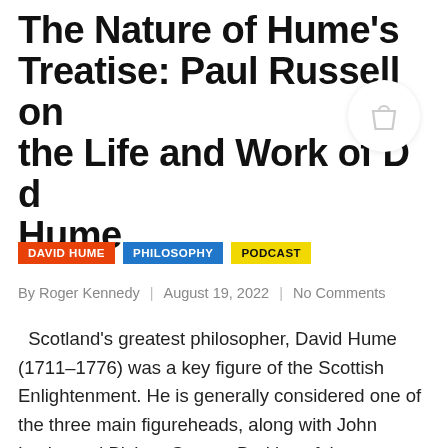The Nature of Hume's Treatise: Paul Russell on the Life and Work of David Hume
DAVID HUME
PHILOSOPHY
PODCAST
By Roger Kennedy  |  August 19, 2022  |  No Comments
Scotland's greatest philosopher, David Hume (1711–1776) was a key figure of the Scottish Enlightenment. He is generally considered one of the three main figureheads, along with John Locke and Bishop George Berkley of the influential British Empiricism movement. Although not well-